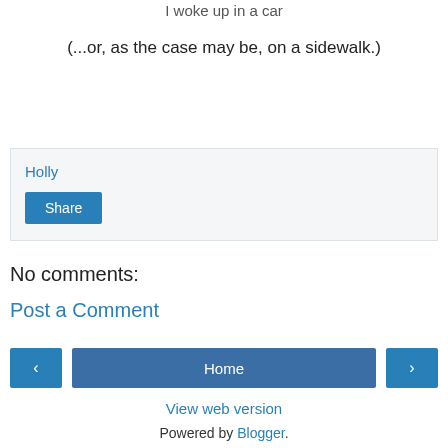I woke up in a car
(...or, as the case may be, on a sidewalk.)
Holly
Share
No comments:
Post a Comment
‹
Home
›
View web version
Powered by Blogger.